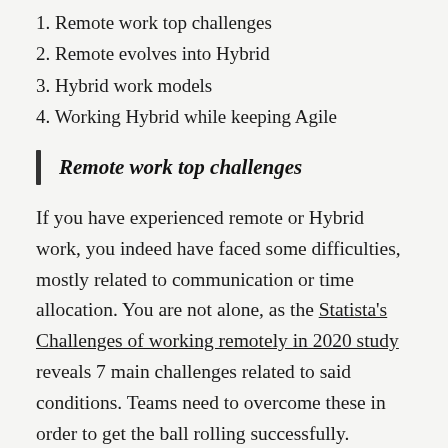1. Remote work top challenges
2. Remote evolves into Hybrid
3. Hybrid work models
4. Working Hybrid while keeping Agile
Remote work top challenges
If you have experienced remote or Hybrid work, you indeed have faced some difficulties, mostly related to communication or time allocation. You are not alone, as the Statista's Challenges of working remotely in 2020 study reveals 7 main challenges related to said conditions. Teams need to overcome these in order to get the ball rolling successfully.